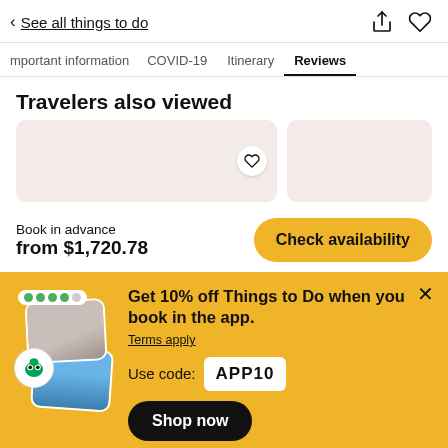< See all things to do
Important information  COVID-19  Itinerary  Reviews
Travelers also viewed
Book in advance
from $1,720.78
Check availability
Get 10% off Things to Do when you book in the app.
Terms apply
Use code: APP10
Shop now